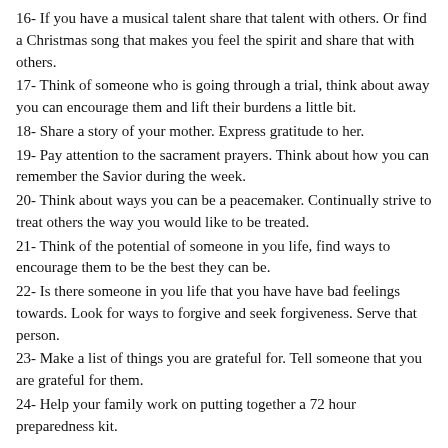16- If you have a musical talent share that talent with others. Or find a Christmas song that makes you feel the spirit and share that with others.
17- Think of someone who is going through a trial, think about away you can encourage them and lift their burdens a little bit.
18- Share a story of your mother. Express gratitude to her.
19- Pay attention to the sacrament prayers. Think about how you can remember the Savior during the week.
20- Think about ways you can be a peacemaker. Continually strive to treat others the way you would like to be treated.
21- Think of the potential of someone in you life, find ways to encourage them to be the best they can be.
22- Is there someone in you life that you have have bad feelings towards. Look for ways to forgive and seek forgiveness. Serve that person.
23- Make a list of things you are grateful for. Tell someone that you are grateful for them.
24- Help your family work on putting together a 72 hour preparedness kit.